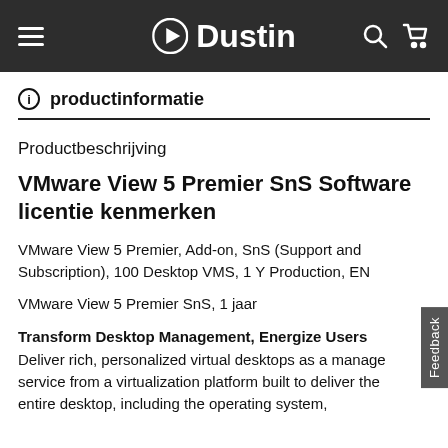Dustin
productinformatie
Productbeschrijving
VMware View 5 Premier SnS Software licentie kenmerken
VMware View 5 Premier, Add-on, SnS (Support and Subscription), 100 Desktop VMS, 1 Y Production, EN
VMware View 5 Premier SnS, 1 jaar
Transform Desktop Management, Energize Users
Deliver rich, personalized virtual desktops as a managed service from a virtualization platform built to deliver the entire desktop, including the operating system,